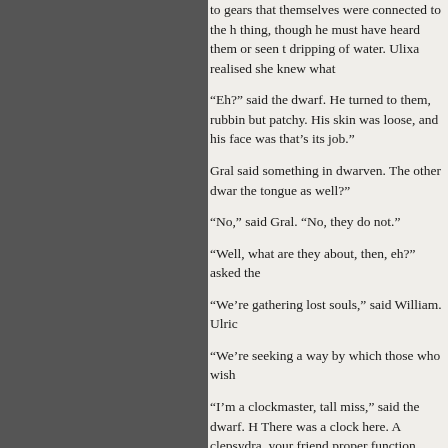to gears that themselves were connected to the h thing, though he must have heard them or seen t dripping of water. Ulixa realised she knew what
“Eh?” said the dwarf. He turned to them, rubbin but patchy. His skin was loose, and his face was that’s its job.”
Gral said something in dwarven. The other dwar the tongue as well?”
“No,” said Gral. “No, they do not.”
“Well, what are they about, then, eh?” asked the
“We’re gathering lost souls,” said William. Ulric
“We’re seeking a way by which those who wish
“I’m a clockmaster, tall miss,” said the dwarf. H There was a clock here. A clepsydra, your friend proper function. What use am I, I ask you?”
“You know the dungeon?” asked Gryselde. “Tha
“Well, there’s no going back down for me,” said
Ulixa turned to look back at all of them. The six Herself. “What is one to do with all these p